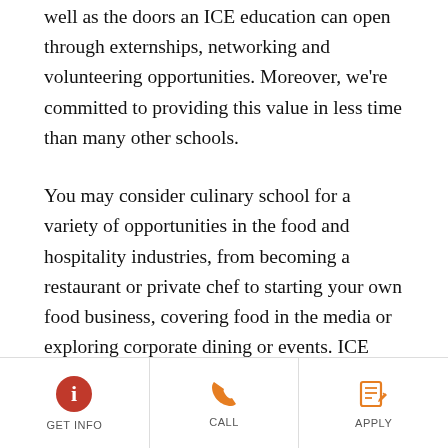well as the doors an ICE education can open through externships, networking and volunteering opportunities. Moreover, we're committed to providing this value in less time than many other schools.
You may consider culinary school for a variety of opportunities in the food and hospitality industries, from becoming a restaurant or private chef to starting your own food business, covering food in the media or exploring corporate dining or events. ICE students can develop culinary, baking,
GET INFO  CALL  APPLY